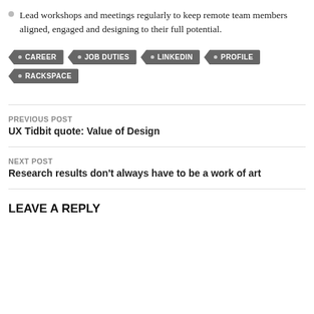Lead workshops and meetings regularly to keep remote team members aligned, engaged and designing to their full potential.
CAREER · JOB DUTIES · LINKEDIN · PROFILE · RACKSPACE
PREVIOUS POST
UX Tidbit quote:  Value of Design
NEXT POST
Research results don't always have to be a work of art
LEAVE A REPLY